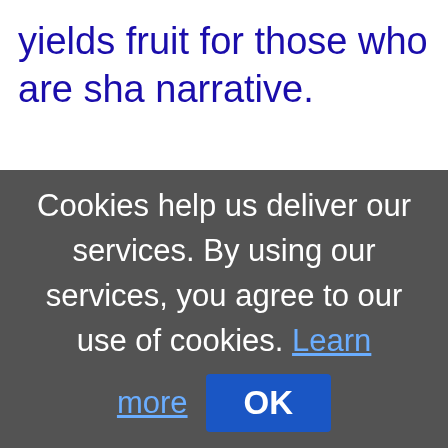yields fruit for those who are sha narrative.
Cookies help us deliver our services. By using our services, you agree to our use of cookies. Learn more